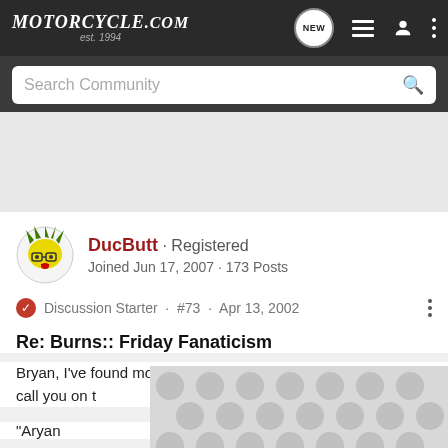MOTORCYCLE.COM est. 1994
Search Community
[Figure (illustration): Advertisement/blank space area]
DucButt · Registered
Joined Jun 17, 2007 · 173 Posts
Discussion Starter · #73 · Apr 13, 2002
Re: Burns:: Friday Fanaticism
Bryan, I've found most of your posts enlightening - but gotta call you on t
"Aryan